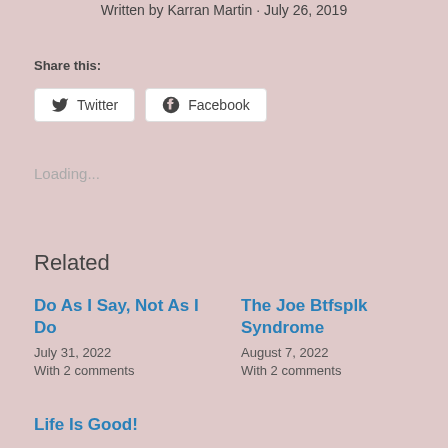Written by Karran Martin · July 26, 2019
Share this:
Twitter
Facebook
Loading...
Related
Do As I Say, Not As I Do
July 31, 2022
With 2 comments
The Joe Btfsplk Syndrome
August 7, 2022
With 2 comments
Life Is Good!